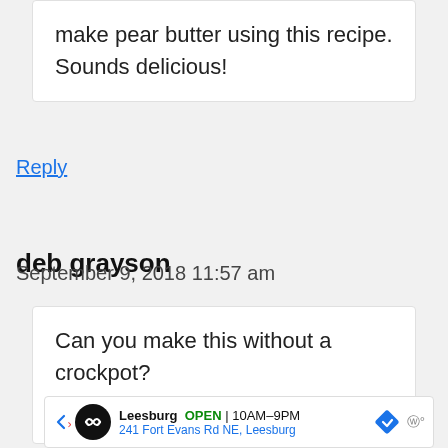make pear butter using this recipe. Sounds delicious!
Reply
deb grayson
September 9, 2018 11:57 am
Can you make this without a crockpot?
[Figure (screenshot): Ad banner for a Leesburg store showing OPEN 10AM-9PM, 241 Fort Evans Rd NE, Leesburg with navigation icons]